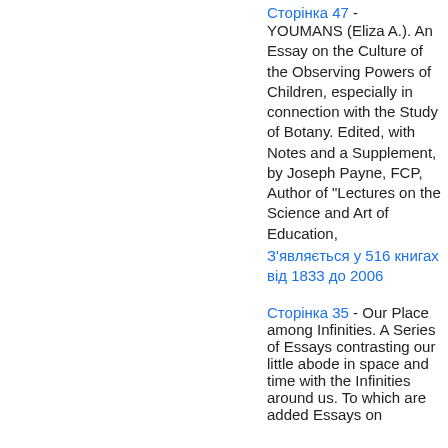Сторінка 47 - YOUMANS (Eliza A.). An Essay on the Culture of the Observing Powers of Children, especially in connection with the Study of Botany. Edited, with Notes and a Supplement, by Joseph Payne, FCP, Author of "Lectures on the Science and Art of Education, З'являється у 516 книгах від 1833 до 2006
Сторінка 35 - Our Place among Infinities. A Series of Essays contrasting our little abode in space and time with the Infinities around us. To which are added Essays on